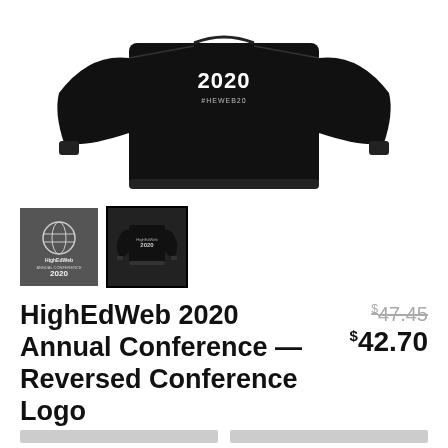[Figure (photo): Black hoodie/crewneck sweatshirt with '2020 #HEWEB20' text on front, shown flat lay on white background]
[Figure (photo): Two product thumbnails: first shows HighEdWeb 2020 Annual Conference logo on gray background; second shows back of black hoodie with reversed conference logo]
HighEdWeb 2020 Annual Conference — Reversed Conference Logo
$47.45 $42.70